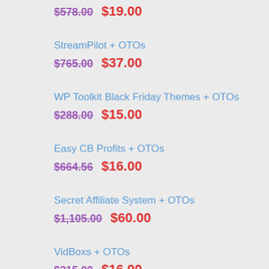PLRSites + OTOs — $578.00 → $19.00
StreamPilot + OTOs — $765.00 → $37.00
WP Toolkit Black Friday Themes + OTOs — $288.00 → $15.00
Easy CB Profits + OTOs — $664.56 → $16.00
Secret Affiliate System + OTOs — $1,105.00 → $60.00
VidBoxs + OTOs — $315.00 → $16.00